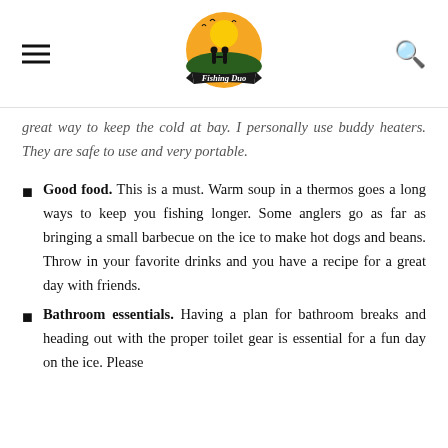Fishing Duo
great way to keep the cold at bay. I personally use buddy heaters. They are safe to use and very portable.
Good food. This is a must. Warm soup in a thermos goes a long ways to keep you fishing longer. Some anglers go as far as bringing a small barbecue on the ice to make hot dogs and beans. Throw in your favorite drinks and you have a recipe for a great day with friends.
Bathroom essentials. Having a plan for bathroom breaks and heading out with the proper toilet gear is essential for a fun day on the ice. Please